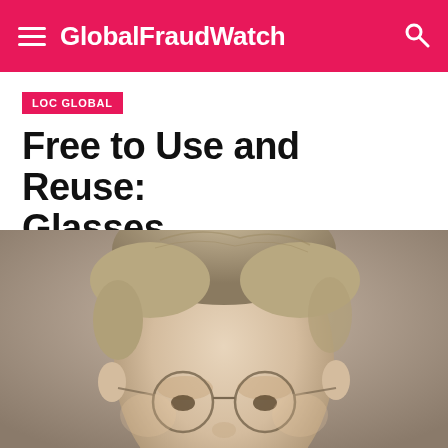GlobalFraudWatch
LOC GLOBAL
Free to Use and Reuse: Glasses
[Figure (photo): Sepia-toned portrait photograph of a man with short light hair wearing round wire-frame glasses, cropped to show head and upper face.]